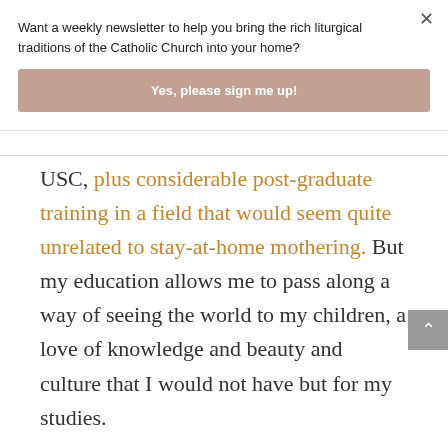Want a weekly newsletter to help you bring the rich liturgical traditions of the Catholic Church into your home?
Yes, please sign me up!
USC, plus considerable post-graduate training in a field that would seem quite unrelated to stay-at-home mothering. But my education allows me to pass along a way of seeing the world to my children, a love of knowledge and beauty and culture that I would not have but for my studies.